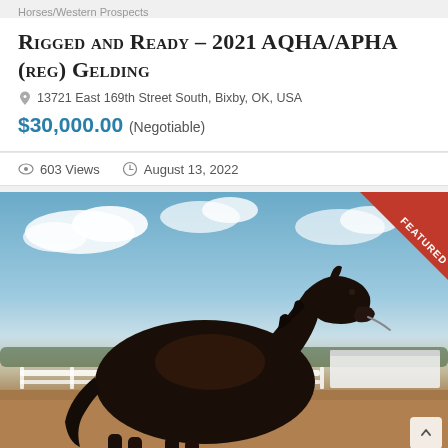Horses/Western Prospects
Rigged and Ready – 2021 AQHA/APHA (reg) Gelding
13721 East 169th Street South, Bixby, OK, USA
$30,000.00 (Negotiable)
603 Views   August 13, 2022
[Figure (photo): Dark bay/black gelding horse standing in profile facing right in a dirt arena with white fence panels, trees, and a white trailer visible in the background under a partly cloudy blue sky. A 'FEATURED' red banner badge is shown in the top-right corner of the image.]